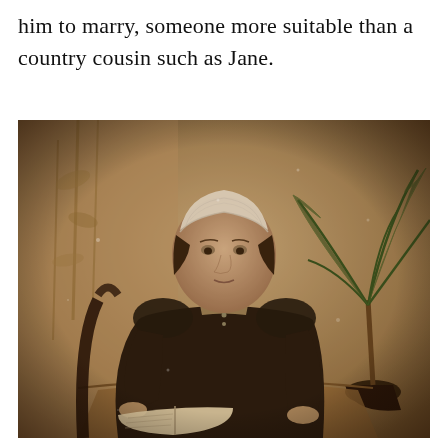him to marry, someone more suitable than a country cousin such as Jane.
[Figure (photo): Sepia-toned antique photograph of a woman seated at a table, wearing a dark Victorian dress and a white lace cap on her head. She holds an open book in her hands. A potted palm plant is visible in the background to the right, and a decorative painted backdrop with foliage is behind her.]